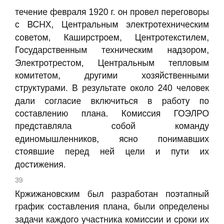течение февраля 1920 г. он провел переговоры с ВСНХ, Центральным электротехническим советом, Каширстроем, Центротекстилем, Государственным техническим надзором, Электротрестом, Центральным тепловым комитетом, другими хозяйственными структурами. В результате около 240 человек дали согласие включиться в работу по составлению плана. Комиссия ГОЭЛРО представляла собой команду единомышленников, ясно понимавших стоявшие перед ней цели и пути их достижения.
39
Кржижановским был разработан поэтапный график составления плана, были определены задачи каждого участника комиссии и сроки их выполнения. Отчеты о проделанной